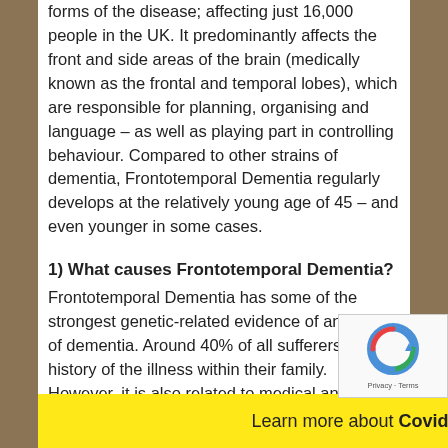forms of the disease; affecting just 16,000 people in the UK. It predominantly affects the front and side areas of the brain (medically known as the frontal and temporal lobes), which are responsible for planning, organising and language – as well as playing part in controlling behaviour. Compared to other strains of dementia, Frontotemporal Dementia regularly develops at the relatively young age of 45 – and even younger in some cases.
1) What causes Frontotemporal Dementia?
Frontotemporal Dementia has some of the strongest genetic-related evidence of any form of dementia. Around 40% of all sufferers have history of the illness within their family. However, it is also related to medical and lifestyle factors.
It is caused by a build up of abnormal proteins in the brain, which damage the cells, becoming larger over time. Eventually,
Learn more about Covid 19 here